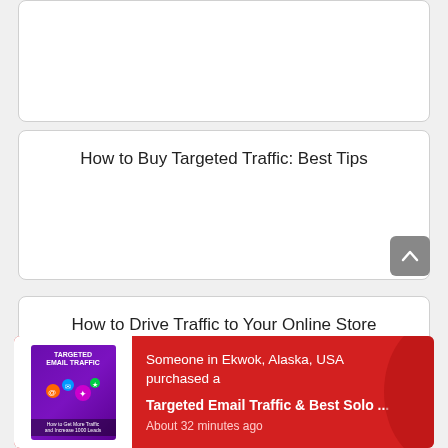[Figure (other): White card with rounded corners, partially visible at top]
How to Buy Targeted Traffic: Best Tips
How to Drive Traffic to Your Online Store
[Figure (other): Red notification bar showing: Someone in Ekwok, Alaska, USA purchased a Targeted Email Traffic & Best Solo ... About 32 minutes ago, with a purple book product image on the left]